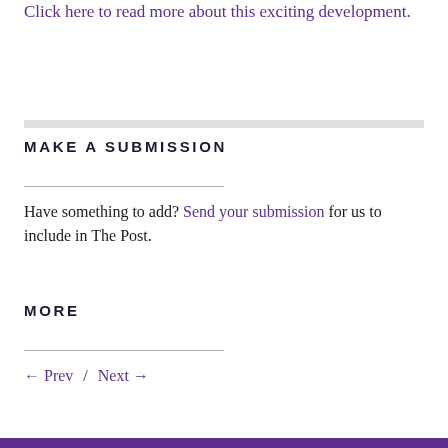Click here to read more about this exciting development.
MAKE A SUBMISSION
Have something to add? Send your submission for us to include in The Post.
MORE
← Prev  /  Next →